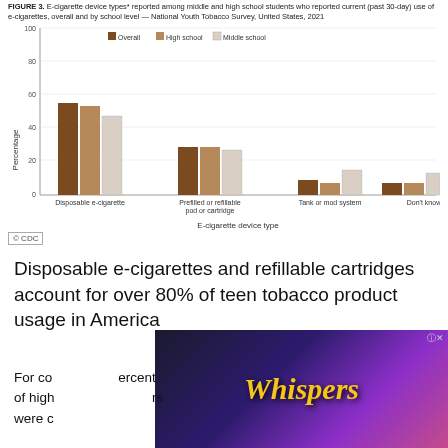FIGURE 3. E-cigarette device types* reported among middle and high school students who reported current (past 30-day) use of e-cigarettes, overall and by school level — National Youth Tobacco Survey, United States, 2021
[Figure (grouped-bar-chart): E-cigarette device types among middle and high school students]
© CDC
Disposable e-cigarettes and refillable cartridges account for over 80% of teen tobacco product usage in America
For co...percent of high...rs were c...